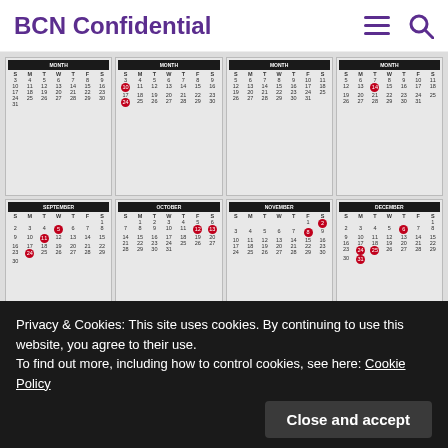BCN Confidential
[Figure (other): A calendar grid showing multiple months (September through December and others) with certain dates marked with red circles, arranged in a 4x2 grid layout.]
January 1: New Year's Day
New Year's Day is the first day of the year and
Privacy & Cookies: This site uses cookies. By continuing to use this website, you agree to their use.
To find out more, including how to control cookies, see here: Cookie Policy
Close and accept